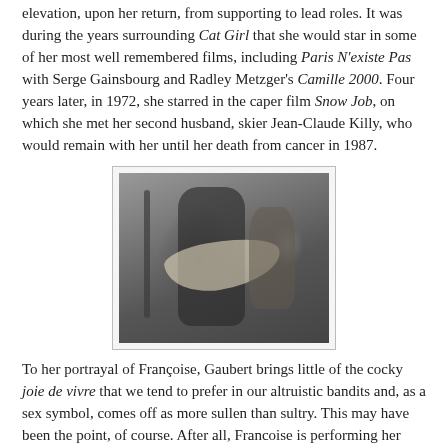elevation, upon her return, from supporting to lead roles. It was during the years surrounding Cat Girl that she would star in some of her most well remembered films, including Paris N'existe Pas with Serge Gainsbourg and Radley Metzger's Camille 2000. Four years later, in 1972, she starred in the caper film Snow Job, on which she met her second husband, skier Jean-Claude Killy, who would remain with her until her death from cancer in 1987.
[Figure (photo): Black and white photograph of musicians performing, with a guitarist in the foreground playing an electric guitar, and other band members visible in the background near drum kit and amplifiers.]
To her portrayal of Françoise, Gaubert brings little of the cocky joie de vivre that we tend to prefer in our altruistic bandits and, as a sex symbol, comes off as more sullen than sultry. This may have been the point, of course. After all, Francoise is performing her daring do under duress from The Man here, and has every right to be po-faced about it. There